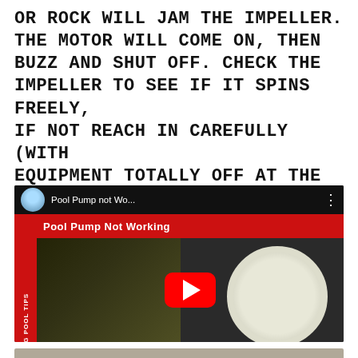OR ROCK WILL JAM THE IMPELLER. THE MOTOR WILL COME ON, THEN BUZZ AND SHUT OFF. CHECK THE IMPELLER TO SEE IF IT SPINS FREELY, IF NOT REACH IN CAREFULLY (WITH EQUIPMENT TOTALLY OFF AT THE BREAKER) AND REMOVE DEBRIS.
[Figure (screenshot): YouTube video thumbnail showing 'Pool Pump not Wo...' / 'Pool Pump Not Working' with a red play button. The thumbnail shows a hand near a pool pump filter cap. A red sidebar reads 'SWIMMING POOL TIPS'.]
[Figure (screenshot): Partially visible second video thumbnail with a tan/brown background and a white play button icon, cropped at the bottom of the page.]